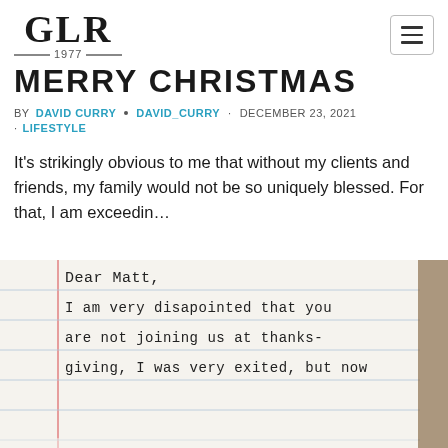GLR 1977
MERRY CHRISTMAS
BY DAVID CURRY · DAVID_CURRY · DECEMBER 23, 2021 · LIFESTYLE
It's strikingly obvious to me that without my clients and friends, my family would not be so uniquely blessed. For that, I am exceedin…
[Figure (photo): A handwritten letter on lined paper reading: Dear Matt, I am very disapointed that you are not joining us at thanks-giving, I was very exited, but now]